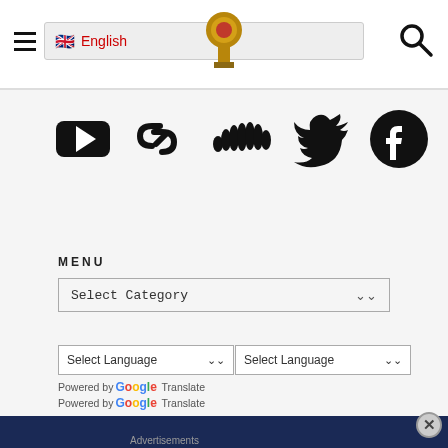English | [hamburger menu] | [logo] | [search]
[Figure (infographic): Row of social media icons: YouTube, chain/link, SoundCloud, Twitter, Facebook]
MENU
[Figure (screenshot): Select Category dropdown box]
[Figure (screenshot): Two Select Language dropdown boxes side by side]
Powered by Google Translate
Powered by Google Translate
[Figure (screenshot): Dark navy blue banner with close (X) button]
Advertisements
[Figure (screenshot): Advertisement: Turn your blog into a money-making online course.]